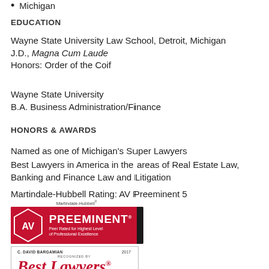Michigan
EDUCATION
Wayne State University Law School, Detroit, Michigan
J.D., Magna Cum Laude
Honors: Order of the Coif
Wayne State University
B.A. Business Administration/Finance
HONORS & AWARDS
Named as one of Michigan's Super Lawyers
Best Lawyers in America in the areas of Real Estate Law, Banking and Finance Law and Litigation
Martindale-Hubbell Rating: AV Preeminent 5
[Figure (logo): Martindale-Hubbell AV Preeminent 2019 badge - red hexagon with AV, red banner with PREEMINENT, black block with 2019]
[Figure (logo): Best Lawyers 2017 badge for C. David Bargamian - red italic Best Lawyers text with recognized by header]